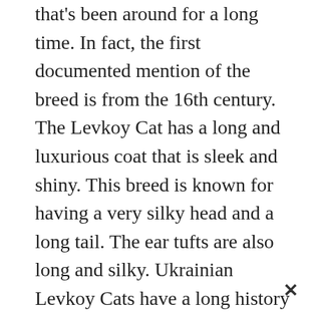that's been around for a long time. In fact, the first documented mention of the breed is from the 16th century. The Levkoy Cat has a long and luxurious coat that is sleek and shiny. This breed is known for having a very silky head and a long tail. The ear tufts are also long and silky. Ukrainian Levkoy Cats have a long history of being used as pets in Ukraine. The coat that is found on the cat is one of the most valuable items in the cat's life. It sheds the coat once a year and sheds its hair throughout the year.
✕